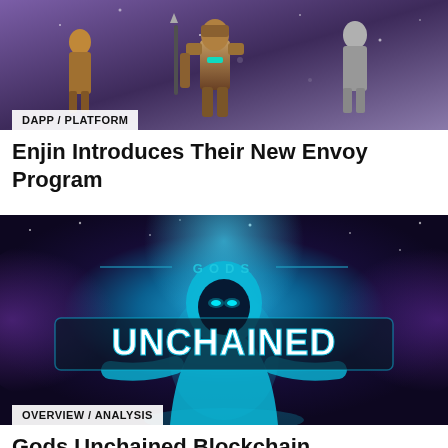[Figure (screenshot): Game characters from Enjin platform — armored fantasy/sci-fi characters on a purple background]
DAPP / PLATFORM
Enjin Introduces Their New Envoy Program
[Figure (screenshot): Gods Unchained blockchain game logo — hooded glowing figure with 'GODS UNCHAINED' text on cosmic blue/purple background]
OVERVIEW / ANALYSIS
Gods Unchained Blockchain Game Review